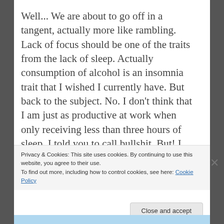Well... We are about to go off in a tangent, actually more like rambling. Lack of focus should be one of the traits from the lack of sleep. Actually consumption of alcohol is an insomnia trait that I wished I currently have. But back to the subject. No. I don't think that I am just as productive at work when only receiving less than three hours of sleep. I told you to call bullshit. But! I
Privacy & Cookies: This site uses cookies. By continuing to use this website, you agree to their use.
To find out more, including how to control cookies, see here: Cookie Policy
Close and accept